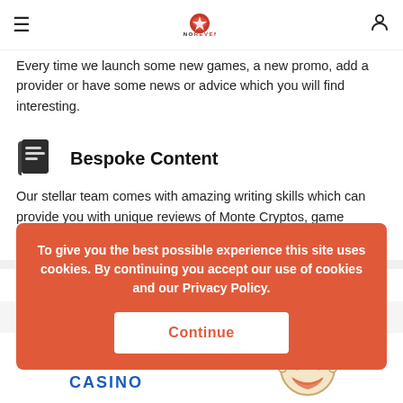CasinoRevenues
Every time we launch some new games, a new promo, add a provider or have some news or advice which you will find interesting.
Bespoke Content
Our stellar team comes with amazing writing skills which can provide you with unique reviews of Monte Cryptos, game reviews, industry related content etc.
Our B... casino
[Figure (screenshot): Cookie consent overlay with orange/red background, text: 'To give you the best possible experience this site uses cookies. By continuing you accept our use of cookies and our Privacy Policy.' and a white Continue button.]
[Figure (logo): Azur Casino logo]
[Figure (illustration): Cartoon smiling face mascot]